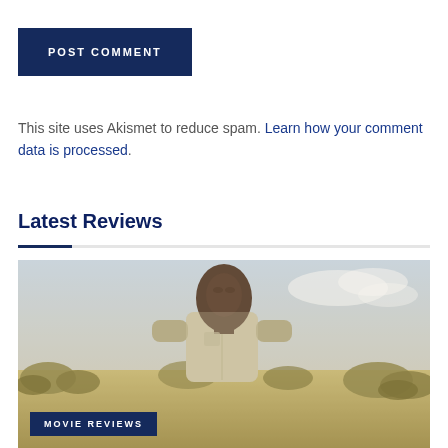This site uses Akismet to reduce spam. Learn how your comment data is processed.
POST COMMENT
Latest Reviews
[Figure (photo): A man standing outdoors in a dry, scrubby landscape wearing a light-colored shirt. A 'MOVIE REVIEWS' badge appears in the lower left corner of the image.]